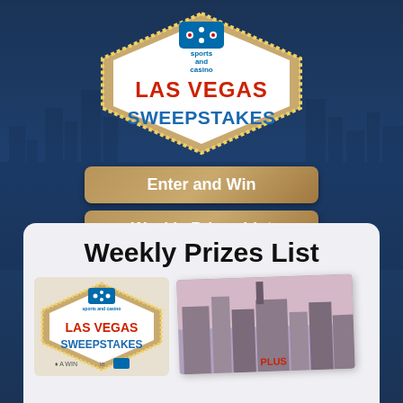[Figure (logo): Sports and Casino Las Vegas Sweepstakes logo — diamond/shield shape with yellow dot border, red 'LAS VEGAS' text, blue 'SWEEPSTAKES' text, and Domino's logo at top]
Enter and Win
Weekly Prizes List
Weekly Prizes List
[Figure (illustration): Left side: smaller Las Vegas Sweepstakes logo with partial text visible. Right side: tilted photograph of a Las Vegas hotel/casino building with text 'PLUS' partially visible]